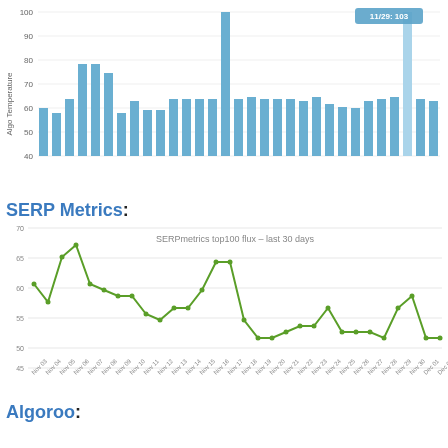[Figure (bar-chart): ]
SERP Metrics:
[Figure (line-chart): SERPmetrics top100 flux – last 30 days]
Algoroo: